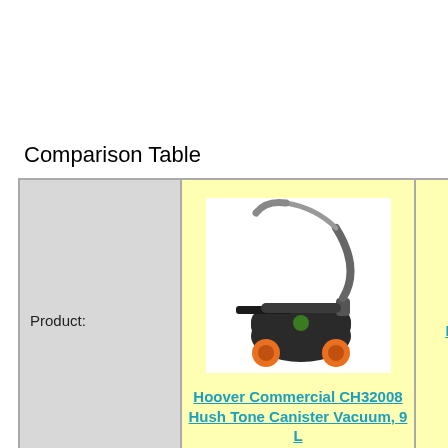Comparison Table
|  | Hoover Commercial CH32008 Hush Tone Canister Vacuum, 9 L | N... Ha... |
| --- | --- | --- |
| Product: | [image of vacuum] Hoover Commercial CH32008 Hush Tone Canister Vacuum, 9 L | [partial] |
| Editor Rating: | 4.7 out of 5 | [stars partial] |
|  | Clean without disturbing the [surroundings/environment] with... | In... |